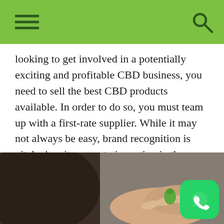[Navigation bar with hamburger menu and search icon]
looking to get involved in a potentially exciting and profitable CBD business, you need to sell the best CBD products available. In order to do so, you must team up with a first-rate supplier. While it may not always be easy, brand recognition is vital when it comes to inventing in the consumer market. Of course, there are a few basics that everybody should know before turning their hard-earned money over to a wholesale CBD distributor.
[Figure (photo): Close-up photo of hands holding a small green gummy bear or candy piece, with blurred dark background clothing.]